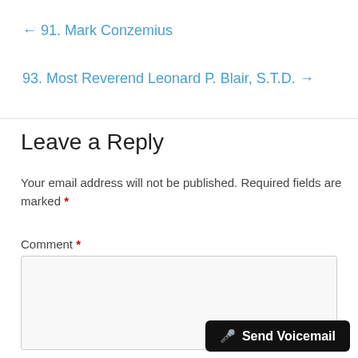← 91. Mark Conzemius
93. Most Reverend Leonard P. Blair, S.T.D. →
Leave a Reply
Your email address will not be published. Required fields are marked *
Comment *